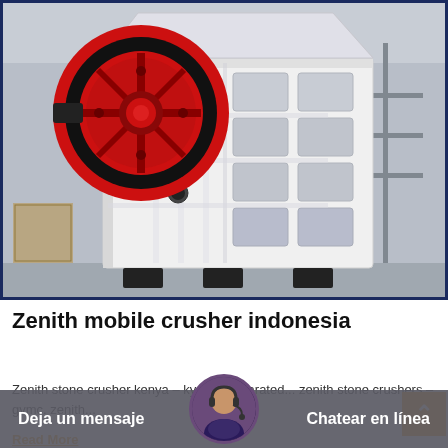[Figure (photo): Large white jaw crusher / stone crushing machine with red flywheel, photographed in a factory/warehouse setting. The machine has a heavy steel frame with grid-like openings on the side and large rubber feet. A prominent red and black flywheel is visible on the left side.]
Zenith mobile crusher indonesia
Zenith stone crusher kenya – kyokushinkarated... zenith stone crushers – gvmc. zenith...
Read More